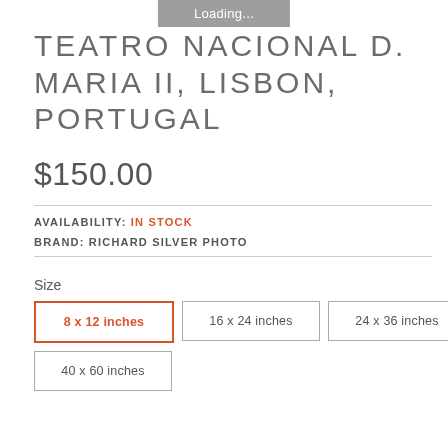Loading...
TEATRO NACIONAL D. MARIA II, LISBON, PORTUGAL
$150.00
AVAILABILITY: IN STOCK
BRAND: RICHARD SILVER PHOTO
Size
8 x 12 inches (selected)
16 x 24 inches
24 x 36 inches
40 x 60 inches